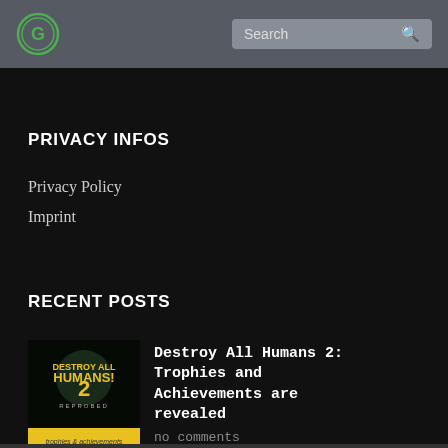Search
PRIVACY INFOS
Privacy Policy
Imprint
RECENT POSTS
[Figure (photo): Destroy All Humans 2 game cover thumbnail with yellow banner at bottom]
Destroy All Humans 2: Trophies and Achievements are revealed
no comments